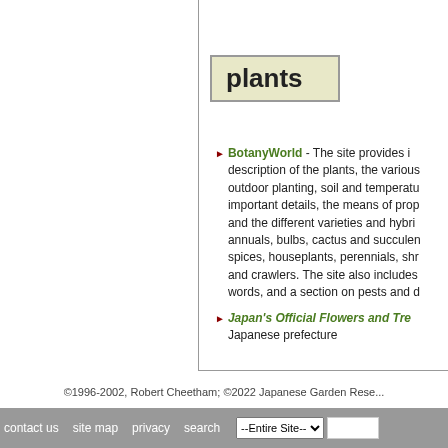plants
BotanyWorld - The site provides information including description of the plants, the various conditions for outdoor planting, soil and temperature and other important details, the means of propagation, and the different varieties and hybrids. Includes annuals, bulbs, cactus and succulents, herbs and spices, houseplants, perennials, shrubs, trees, and crawlers. The site also includes a glossary of words, and a section on pests and diseases.
Japan's Official Flowers and Trees - lists for each Japanese prefecture
©1996-2002, Robert Cheetham; ©2022 Japanese Garden Rese...
contact us   site map   privacy   search   --Entire Site--